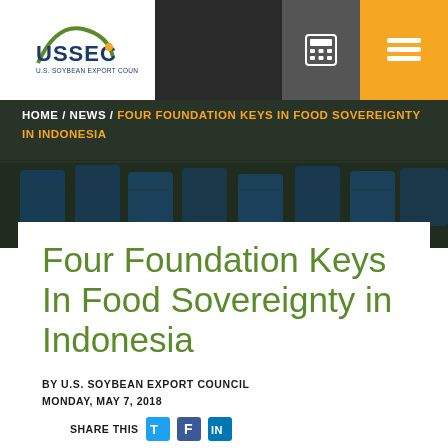[Figure (logo): USSEC U.S. Soybean Export Council logo]
[Figure (photo): Background photo of aquaculture bins/trays with blue containers, dark overlay]
HOME / NEWS / FOUR FOUNDATION KEYS IN FOOD SOVEREIGNTY IN INDONESIA
Four Foundation Keys In Food Sovereignty in Indonesia
BY U.S. SOYBEAN EXPORT COUNCIL
MONDAY, MAY 7, 2018
SHARE THIS
CATEGORY:  AQUACULTURE  GENERAL NEWS